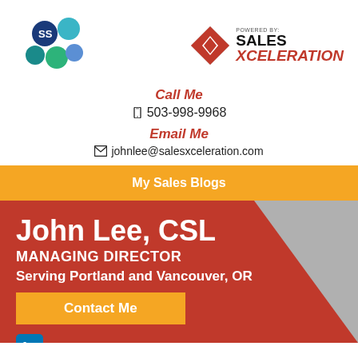[Figure (logo): SS company logo with colored circles]
[Figure (logo): Powered By: SALES XCELERATION logo with red X graphic]
Call Me
503-998-9968
Email Me
johnlee@salesxceleration.com
My Sales Blogs
John Lee, CSL
MANAGING DIRECTOR
Serving Portland and Vancouver, OR
Contact Me
[Figure (logo): LinkedIn icon]